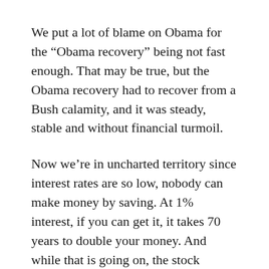We put a lot of blame on Obama for the “Obama recovery” being not fast enough. That may be true, but the Obama recovery had to recover from a Bush calamity, and it was steady, stable and without financial turmoil.
Now we’re in uncharted territory since interest rates are so low, nobody can make money by saving. At 1% interest, if you can get it, it takes 70 years to double your money. And while that is going on, the stock market is surprisingly high. I don’t trust it, and I don’t trust that investors know what is going on right now. Clearly, the stock market is making the investor class rich, but it’s not helping the millions of unemployed